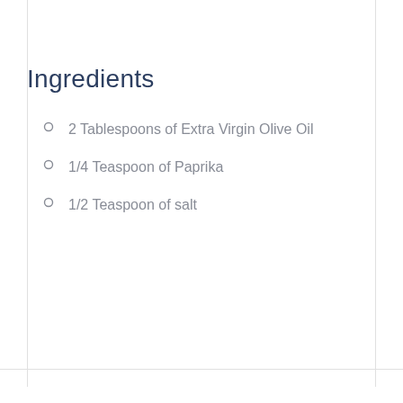Ingredients
2 Tablespoons of Extra Virgin Olive Oil
1/4 Teaspoon of Paprika
1/2 Teaspoon of salt